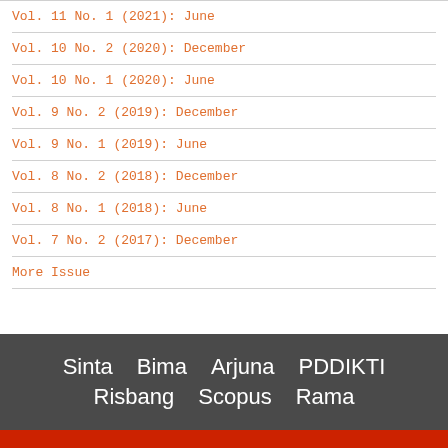Vol. 11 No. 1 (2021): June
Vol. 10 No. 2 (2020): December
Vol. 10 No. 1 (2020): June
Vol. 9 No. 2 (2019): December
Vol. 9 No. 1 (2019): June
Vol. 8 No. 2 (2018): December
Vol. 8 No. 1 (2018): June
Vol. 7 No. 2 (2017): December
More Issue
Sinta  Bima  Arjuna  PDDIKTI  Risbang  Scopus  Rama